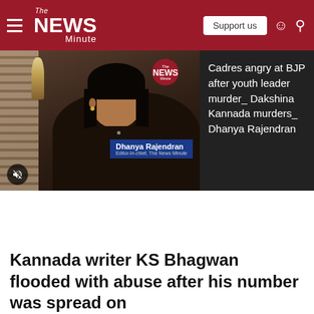The News Minute — Support us
[Figure (screenshot): Video thumbnail showing Dhanya Rajendran, Editor-in-chief of The News Minute, speaking on camera with The News Minute circle logo overlaid.]
Cadres angry at BJP after youth leader murder_ Dakshina Kannada murders_ Dhanya Rajendran
Kannada writer KS Bhagwan flooded with abuse after his number was spread on